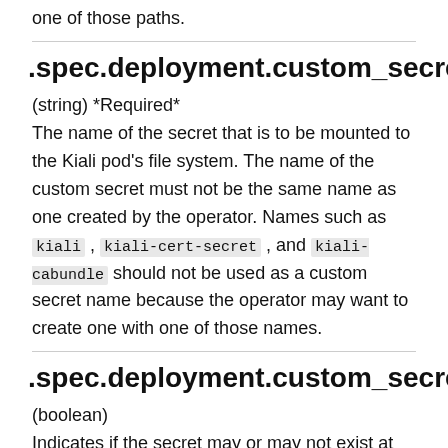one of those paths.
.spec.deployment.custom_secrets[*].na
(string) *Required*
The name of the secret that is to be mounted to the Kiali pod's file system. The name of the custom secret must not be the same name as one created by the operator. Names such as kiali , kiali-cert-secret , and kiali-cabundle should not be used as a custom secret name because the operator may want to create one with one of those names.
.spec.deployment.custom_secrets[*].op
(boolean)
Indicates if the secret may or may not exist at the time